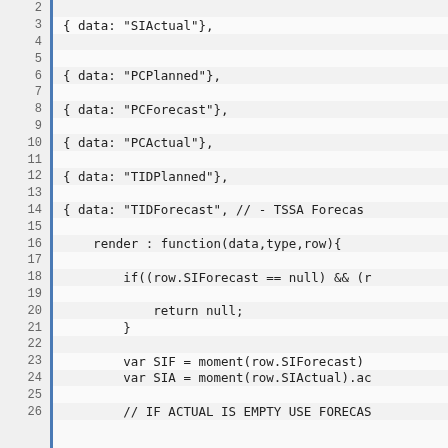[Figure (screenshot): Code editor screenshot showing JavaScript code lines numbered 2 through 26, with a blue left border gutter. The code includes data field definitions (SIActual, PCPlanned, PCForecast, PCActual, TIDPlanned, TIDForecast) and a render function with conditional logic checking row.SIForecast == null, returning null, and declaring variables SIF and SIA using moment().]